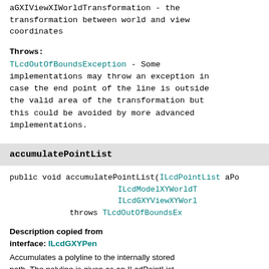aGXIViewXIWorldTransformation - the transformation between world and view coordinates
Throws:
TLcdOutOfBoundsException - Some implementations may throw an exception in case the end point of the line is outside the valid area of the transformation but this could be avoided by more advanced implementations.
accumulatePointList
public void accumulatePointList(ILcdPointList aPo ILcdModelXYWorldT ILcdGXYViewXYWorl throws TLcdOutOfBoundsEx
Description copied from interface: ILcdGXYPen
Accumulates a polyline to the internally stored path. The polyline is given as an ILcdPointList